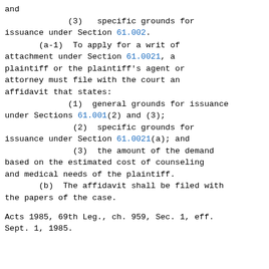and
(3)  specific grounds for issuance under Section 61.002.
(a-1)  To apply for a writ of attachment under Section 61.0021, a plaintiff or the plaintiff's agent or attorney must file with the court an affidavit that states:
(1)  general grounds for issuance under Sections 61.001(2) and (3);
(2)  specific grounds for issuance under Section 61.0021(a); and
(3)  the amount of the demand based on the estimated cost of counseling and medical needs of the plaintiff.
(b)  The affidavit shall be filed with the papers of the case.
Acts 1985, 69th Leg., ch. 959, Sec. 1, eff. Sept. 1, 1985.